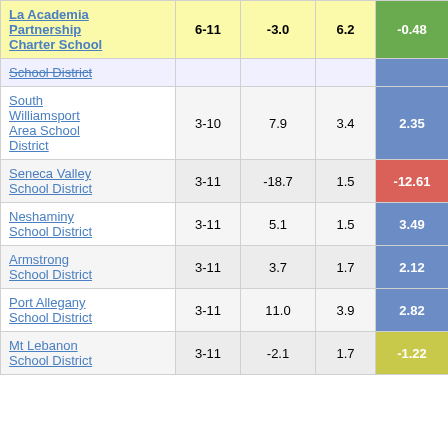| School/District | Grades | Col3 | Col4 | Col5 |
| --- | --- | --- | --- | --- |
| La Academia Partnership Charter School | 6-11 | -3.0 | 6.2 | -0.48 |
| School District (partial) |  |  |  |  |
| South Williamsport Area School District | 3-10 | 7.9 | 3.4 | 2.35 |
| Seneca Valley School District | 3-11 | -18.7 | 1.5 | -12.61 |
| Neshaminy School District | 3-11 | 5.1 | 1.5 | 3.49 |
| Armstrong School District | 3-11 | 3.7 | 1.7 | 2.12 |
| Port Allegany School District | 3-11 | 11.0 | 3.9 | 2.82 |
| Mt Lebanon School District | 3-11 | -2.1 | 1.7 | -1.22 |